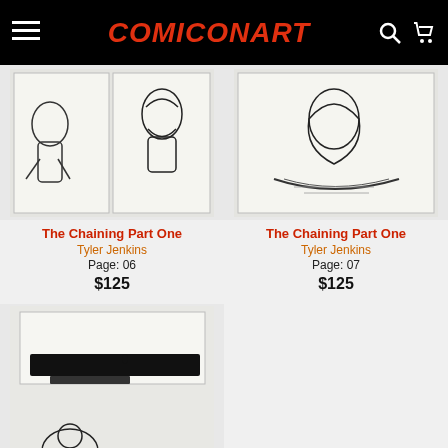ComiConArt
[Figure (photo): Comic art page showing figures, Page 06, The Chaining Part One]
The Chaining Part One
Tyler Jenkins
Page: 06
$125
[Figure (photo): Comic art page showing figure in boat, Page 07, The Chaining Part One]
The Chaining Part One
Tyler Jenkins
Page: 07
$125
[Figure (photo): Comic art page showing landscape and figures, The Chaining Part One]
The Chaining Part O...